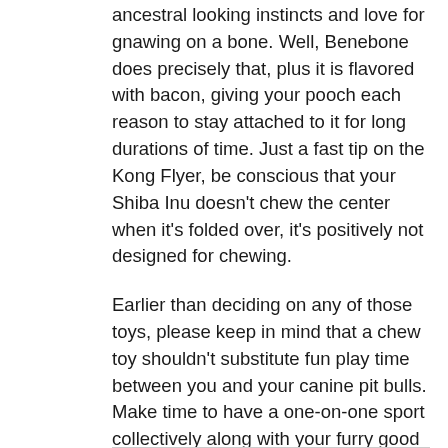ancestral looking instincts and love for gnawing on a bone. Well, Benebone does precisely that, plus it is flavored with bacon, giving your pooch each reason to stay attached to it for long durations of time. Just a fast tip on the Kong Flyer, be conscious that your Shiba Inu doesn't chew the center when it's folded over, it's positively not designed for chewing.
Earlier than deciding on any of those toys, please keep in mind that a chew toy shouldn't substitute fun play time between you and your canine pit bulls. Make time to have a one-on-one sport collectively along with your furry good pal to alleviate their stress and aggression. It's finest to all the time supervise your little mate whereas they're enjoying with any of these toys. As you're wanting around for sturdy toys for Pitbulls, you'll be able to't help however be delighted with this one – it's so sturdy and multi-objective. One motive why pit bulls chew exhausting is that they don't appear to be occupied. With a chew toy, you may get to strengthen their inactivity. One advantage of rubber canine toys like these is it bounces which supplies as a lot as the fun of chasing and wiggling.